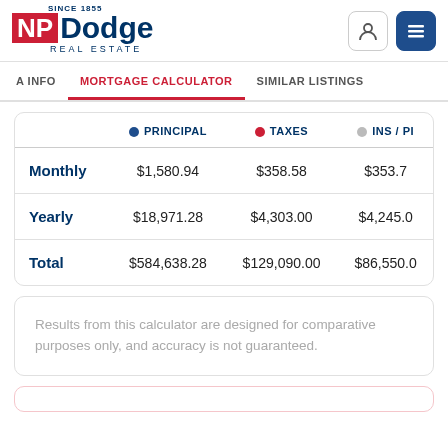[Figure (logo): NP Dodge Real Estate logo with red NP block and blue Dodge text, SINCE 1855 and REAL ESTATE tagline]
A INFO | MORTGAGE CALCULATOR | SIMILAR LISTINGS
|  | ● PRINCIPAL | ● TAXES | ● INS / PI |
| --- | --- | --- | --- |
| Monthly | $1,580.94 | $358.58 | $353.7 |
| Yearly | $18,971.28 | $4,303.00 | $4,245.0 |
| Total | $584,638.28 | $129,090.00 | $86,550.0 |
Results from this calculator are designed for comparative purposes only, and accuracy is not guaranteed.